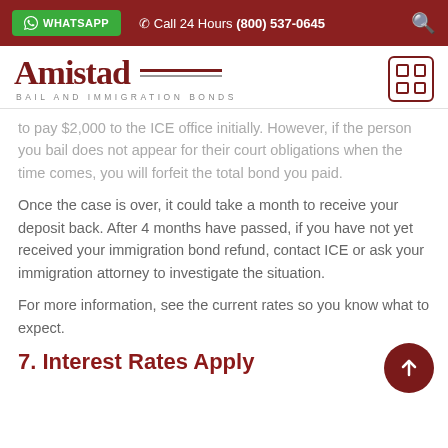WHATSAPP  Call 24 Hours (800) 537-0645
[Figure (logo): Amistad Bail and Immigration Bonds logo with grid icon]
to pay $2,000 to the ICE office initially. However, if the person you bail does not appear for their court obligations when the time comes, you will forfeit the total bond you paid.
Once the case is over, it could take a month to receive your deposit back. After 4 months have passed, if you have not yet received your immigration bond refund, contact ICE or ask your immigration attorney to investigate the situation.
For more information, see the current rates so you know what to expect.
7. Interest Rates Apply